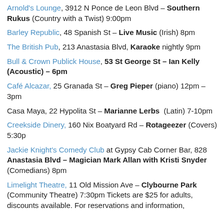Arnold's Lounge, 3912 N Ponce de Leon Blvd – Southern Rukus (Country with a Twist) 9:00pm
Barley Republic, 48 Spanish St – Live Music (Irish) 8pm
The British Pub, 213 Anastasia Blvd, Karaoke nightly 9pm
Bull & Crown Publick House, 53 St George St – Ian Kelly (Acoustic) – 6pm
Café Alcazar, 25 Granada St – Greg Pieper (piano) 12pm – 3pm
Casa Maya, 22 Hypolita St – Marianne Lerbs (Latin) 7-10pm
Creekside Dinery, 160 Nix Boatyard Rd – Rotageezer (Covers) 5:30p
Jackie Knight's Comedy Club at Gypsy Cab Corner Bar, 828 Anastasia Blvd – Magician Mark Allan with Kristi Snyder (Comedians) 8pm
Limelight Theatre, 11 Old Mission Ave – Clybourne Park (Community Theatre) 7:30pm Tickets are $25 for adults, discounts available. For reservations and information, please call 904-825-0454